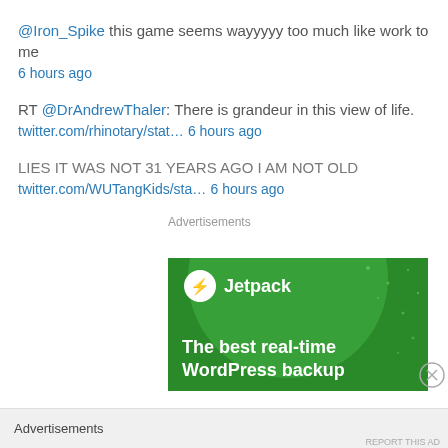@Iron_Spike this game seems wayyyyy too much like work to me
6 hours ago
RT @DrAndrewThaler: There is grandeur in this view of life.
twitter.com/rhinotary/stat… 6 hours ago
LIES IT WAS NOT 31 YEARS AGO I AM NOT OLD
twitter.com/WUTangKids/sta… 6 hours ago
Advertisements
[Figure (screenshot): Jetpack advertisement banner - green background with Jetpack logo and text 'The best real-time WordPress backup']
Advertisements